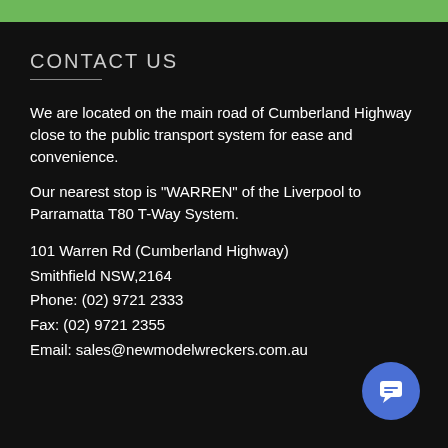CONTACT US
We are located on the main road of Cumberland Highway close to the public transport system for ease and convenience.
Our nearest stop is "WARREN" of the Liverpool to Parramatta T80 T-Way System.
101 Warren Rd (Cumberland Highway)
Smithfield NSW,2164
Phone: (02) 9721 2333
Fax: (02) 9721 2355
Email: sales@newmodelwreckers.com.au